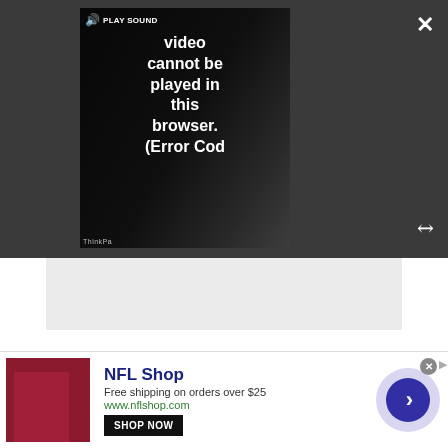[Figure (screenshot): Video player showing error message: 'Video cannot be played in this browser. (Error Cod' with play sound button and ThinkPad branding visible. Dark overlay UI with close and expand buttons.]
[Figure (screenshot): Gray advertisement placeholder bar below video player.]
Alternatively, you can keep the Fold like a tablet and stand it up with a kickstand. Pair that with either the mini keyboard (which works both on or off the screen and has a touchpad) or your own separate Bluetooth keyboard and mouse and you've got an instant work setup. It won't replace a primary monitor, though if you plug one in via USB Type-C, it could be a
[Figure (screenshot): NFL Shop advertisement banner. Shows NFL Shop logo, text 'Free shipping on orders over $25', 'www.nflshop.com', SHOP NOW button, and a navigation arrow button. Crimson product image on left.]